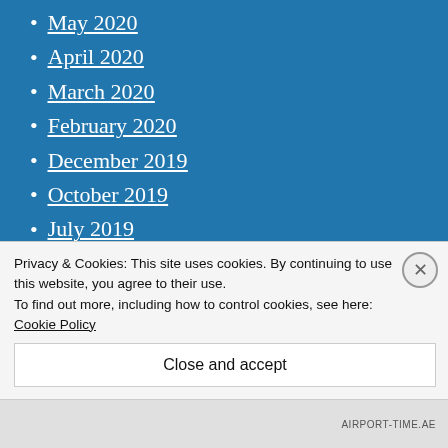May 2020
April 2020
March 2020
February 2020
December 2019
October 2019
July 2019
April 2019
February 2019
December 2018
November 2018
October 2018
Privacy & Cookies: This site uses cookies. By continuing to use this website, you agree to their use. To find out more, including how to control cookies, see here: Cookie Policy
Close and accept
AIRPORT-TIME.AE